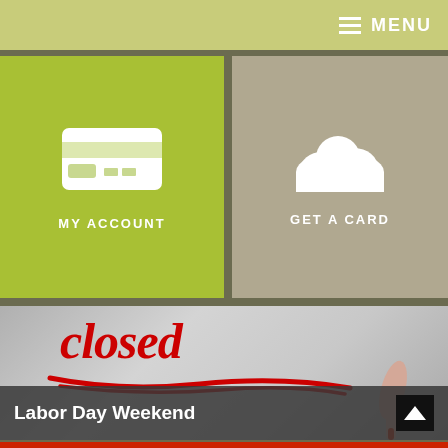MENU
[Figure (screenshot): Green tile with credit card icon labeled MY ACCOUNT]
[Figure (screenshot): Tan/beige tile with cloud icon labeled GET A CARD]
[Figure (illustration): Gray background image with red cursive 'closed' text and a hand holding a marker writing it, with red underline swoosh]
Labor Day Weekend